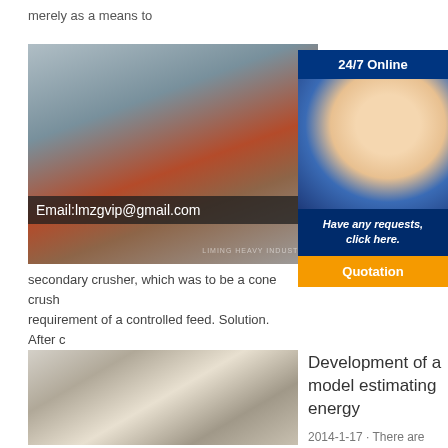merely as a means to
[Figure (photo): Industrial mining/crushing machinery (red metal structure) with workers, overlaid with email address. Watermark: LIMING HEAVY INDUSTRY.]
APAS Quarry Case Stu with APA cons prim toge
[Figure (photo): 24/7 Online chat popup with photo of female customer service agent wearing headset, blue uniform. Has 'Have any requests, click here.' and Quotation button.]
secondary crusher, which was to be a cone crush requirement of a controlled feed. Solution. After c number of different crushers from various manufa
[Figure (photo): White industrial milling/grinding equipment (vertical mills) in a factory setting.]
Development of a model estimating energy
2014-1-17 · There are